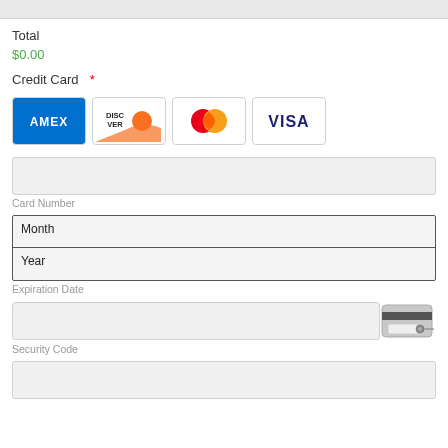Total
$0.00
Credit Card  *
[Figure (other): Credit card brand icons: AMEX, DISCOVER, Mastercard, VISA]
Card Number
Month
Year
Expiration Date
[Figure (illustration): Credit card CVV icon showing back of card with security code strip]
Security Code